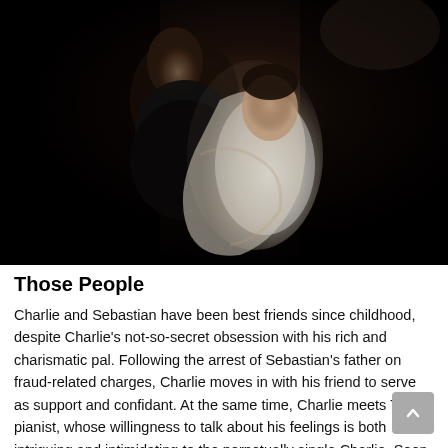[Figure (photo): Two men in close embrace, one in dark clothing and one in a white jacket, in a dramatic low-light scene.]
Those People
Charlie and Sebastian have been best friends since childhood, despite Charlie's not-so-secret obsession with his rich and charismatic pal. Following the arrest of Sebastian's father on fraud-related charges, Charlie moves in with his friend to serve as support and confidant. At the same time, Charlie meets Tim, a pianist, whose willingness to talk about his feelings is both intriguing and intimidating to the perpetually single Charlie. Soon Charlie is facing a choice between what he has always wanted and what might be, though neither option